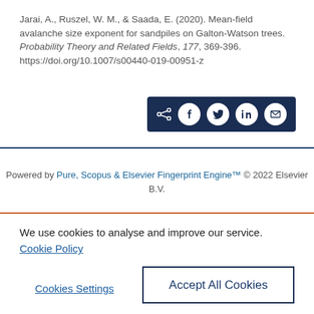Jarai, A., Ruszel, W. M., & Saada, E. (2020). Mean-field avalanche size exponent for sandpiles on Galton-Watson trees. Probability Theory and Related Fields, 177, 369-396. https://doi.org/10.1007/s00440-019-00951-z
[Figure (other): Social share button bar with dark navy background containing share, Facebook, Twitter, LinkedIn, and email icons]
Powered by Pure, Scopus & Elsevier Fingerprint Engine™ © 2022 Elsevier B.V.
We use cookies to analyse and improve our service. Cookie Policy
Cookies Settings
Accept All Cookies